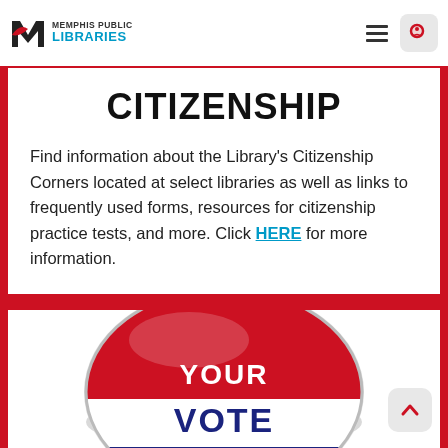Memphis Public Libraries — IMMIGRATION AND CITIZENSHIP
CITIZENSHIP
Find information about the Library's Citizenship Corners located at select libraries as well as links to frequently used forms, resources for citizenship practice tests, and more. Click HERE for more information.
[Figure (photo): A red, white, and blue campaign-style button that reads 'YOUR VOTE COUNTS']